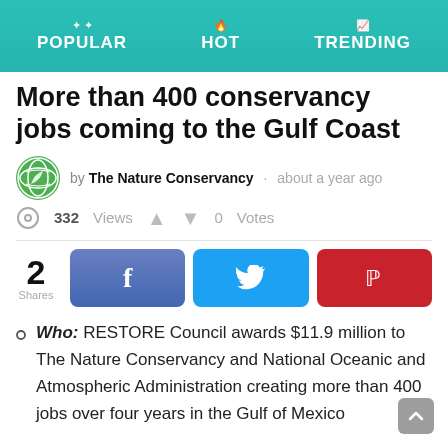POPULAR   HOT   TRENDING
More than 400 conservancy jobs coming to the Gulf Coast
by The Nature Conservancy · about a year ago
332 Views  0 Votes
2 Shares — Facebook, Twitter, Pinterest
Who: RESTORE Council awards $11.9 million to The Nature Conservancy and National Oceanic and Atmospheric Administration creating more than 400 jobs over four years in the Gulf of Mexico